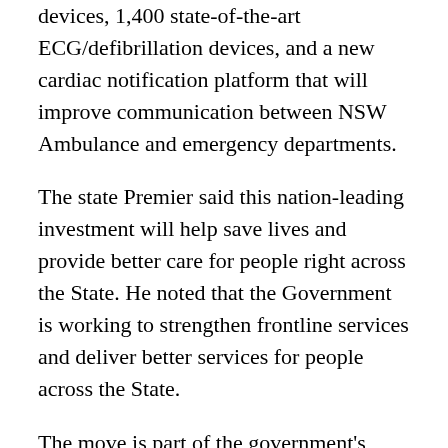devices, 1,400 state-of-the-art ECG/defibrillation devices, and a new cardiac notification platform that will improve communication between NSW Ambulance and emergency departments.
The state Premier said this nation-leading investment will help save lives and provide better care for people right across the State. He noted that the Government is working to strengthen frontline services and deliver better services for people across the State.
The move is part of the government's record investment in the health system to ensure that all NSW inhabitants, regardless of their area of residence, have access to the best healthcare possible to provide people with world-class